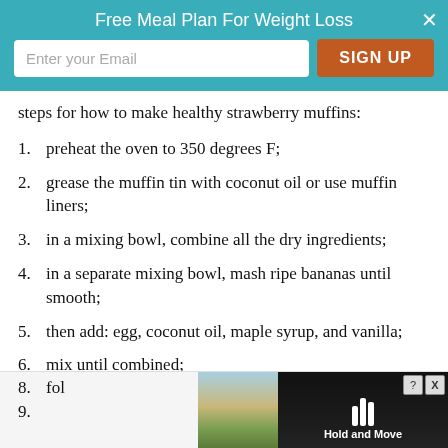[Figure (screenshot): Teal banner with 'Free Meal Plan For Weight Loss' header, email input field, and orange SIGN UP button]
steps for how to make healthy strawberry muffins:
1. preheat the oven to 350 degrees F;
2. grease the muffin tin with coconut oil or use muffin liners;
3. in a mixing bowl, combine all the dry ingredients;
4. in a separate mixing bowl, mash ripe bananas until smooth;
5. then add: egg, coconut oil, maple syrup, and vanilla;
6. mix until combined;
7. add in the dry ingredients and mix;
8. fol[partially visible]
9. [partially visible]